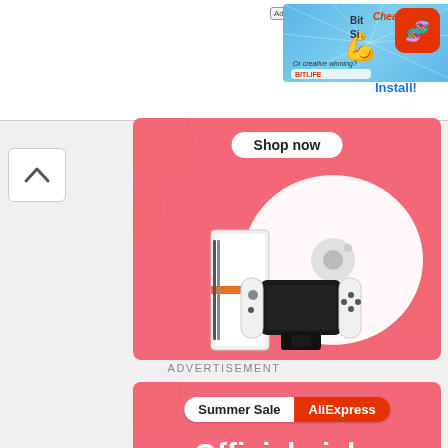[Figure (screenshot): Ad banner for BitLife app showing 'Cheating?' text with muscle emoji on blue background, BitLife app icon on right with 'Install!' button]
[Figure (screenshot): AliExpress Summer Sale pink banner with electronics products (robot vacuum, Nintendo Switch, gaming phone), 'Shop now' button at top]
ADVERTISEMENT
[Figure (screenshot): AliExpress Summer Sale pink banner reading 'Summer Sale AliExpress / Official picks / Shop now']